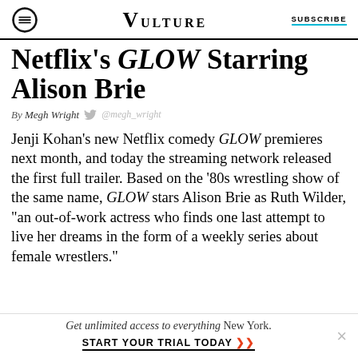VULTURE | SUBSCRIBE
Netflix's GLOW Starring Alison Brie
By Megh Wright @megh_wright
Jenji Kohan's new Netflix comedy GLOW premieres next month, and today the streaming network released the first full trailer. Based on the '80s wrestling show of the same name, GLOW stars Alison Brie as Ruth Wilder, "an out-of-work actress who finds one last attempt to live her dreams in the form of a weekly series about female wrestlers."
Get unlimited access to everything New York. START YOUR TRIAL TODAY ➤➤